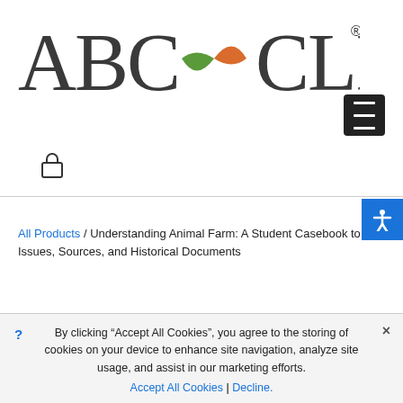[Figure (logo): ABC-CLIO logo with stylized globe icon between 'ABC' and 'CLIO' text, with registered trademark symbol]
[Figure (other): Hamburger menu button (three horizontal lines on black background)]
[Figure (other): Shopping cart/lock icon]
[Figure (other): Blue accessibility icon (person with arms outstretched)]
All Products / Understanding Animal Farm: A Student Casebook to Issues, Sources, and Historical Documents
By clicking “Accept All Cookies”, you agree to the storing of cookies on your device to enhance site navigation, analyze site usage, and assist in our marketing efforts.
Accept All Cookies | Decline.